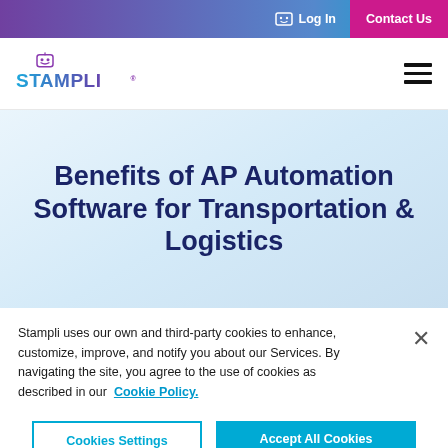Log In  Contact Us
[Figure (logo): Stampli logo with robot icon and colorful brand text]
Benefits of AP Automation Software for Transportation & Logistics
Stampli uses our own and third-party cookies to enhance, customize, improve, and notify you about our Services. By navigating the site, you agree to the use of cookies as described in our Cookie Policy.
Cookies Settings  Accept All Cookies